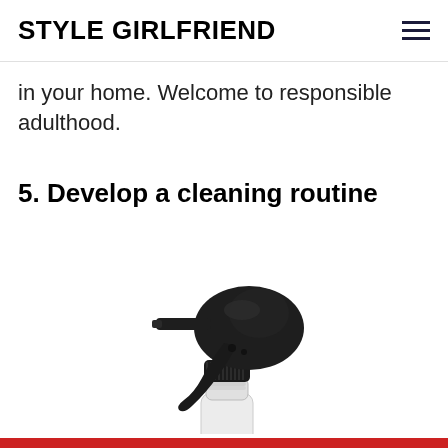STYLE GIRLFRIEND
in your home. Welcome to responsible adulthood.
5. Develop a cleaning routine
[Figure (photo): Close-up photo of a black spray bottle trigger/nozzle mechanism attached to a white plastic bottle, on a white background.]